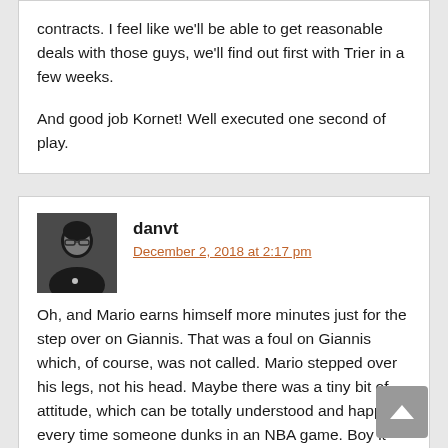contracts. I feel like we'll be able to get reasonable deals with those guys, we'll find out first with Trier in a few weeks.

And good job Kornet! Well executed one second of play.
danvt
December 2, 2018 at 2:17 pm
Oh, and Mario earns himself more minutes just for the step over on Giannis. That was a foul on Giannis which, of course, was not called. Mario stepped over his legs, not his head. Maybe there was a tiny bit of attitude, which can be totally understood and happens every time someone dunks in an NBA game. Boy it doesn't take long before